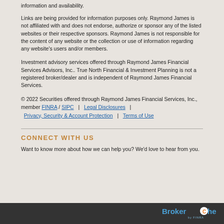information and availability.
Links are being provided for information purposes only. Raymond James is not affiliated with and does not endorse, authorize or sponsor any of the listed websites or their respective sponsors. Raymond James is not responsible for the content of any website or the collection or use of information regarding any website's users and/or members.
Investment advisory services offered through Raymond James Financial Services Advisors, Inc.. True North Financial & Investment Planning is not a registered broker/dealer and is independent of Raymond James Financial Services.
© 2022 Securities offered through Raymond James Financial Services, Inc., member FINRA / SIPC | Legal Disclosures | Privacy, Security & Account Protection | Terms of Use
CONNECT WITH US
Want to know more about how we can help you? We'd love to hear from you.
[Figure (logo): BrokerCheck by FINRA logo in white/blue on dark background]